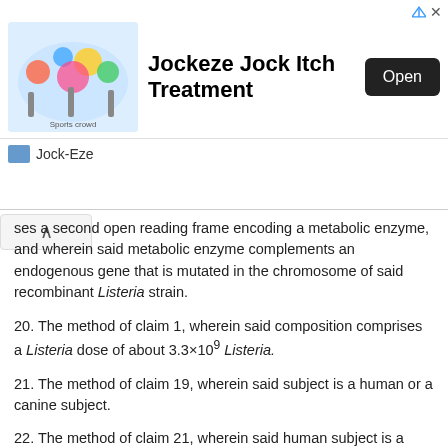[Figure (screenshot): Advertisement banner for Jockeze Jock Itch Treatment by Jock-Eze with Open button]
ses a second open reading frame encoding a metabolic enzyme, and wherein said metabolic enzyme complements an endogenous gene that is mutated in the chromosome of said recombinant Listeria strain.
20. The method of claim 1, wherein said composition comprises a Listeria dose of about 3.3×10⁹ Listeria.
21. The method of claim 19, wherein said subject is a human or a canine subject.
22. The method of claim 21, wherein said human subject is a child, an adolescent or an adult.
23. The method of claim 19, wherein administering said fusion polypeptide to said subject having a Her2/neu-expressing tumor prevents escape mutations within said tumor.
24. The method of claim 19, wherein said HER2/neu-administering tumor...